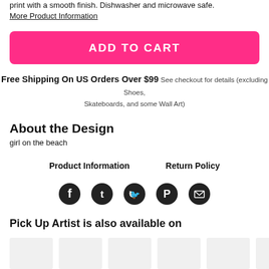print with a smooth finish. Dishwasher and microwave safe. More Product Information
ADD TO CART
Free Shipping On US Orders Over $99 See checkout for details (excluding Shoes, Skateboards, and some Wall Art)
About the Design
girl on the beach
Product Information    Return Policy
[Figure (other): Social media share icons: Facebook, Tumblr, Twitter, Pinterest, Email]
Pick Up Artist is also available on
[Figure (other): Product thumbnail images (grey placeholder boxes)]